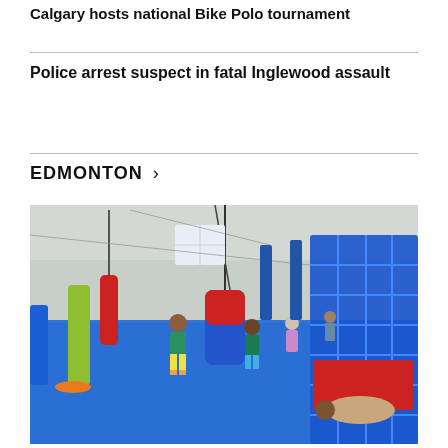Calgary hosts national Bike Polo tournament
Police arrest suspect in fatal Inglewood assault
EDMONTON >
[Figure (photo): Indoor gymnasium/play space with blue padded floor, children playing, colorful equipment including a suspended swing/bag, red padded pillars, blue climbing structure in the foreground, and various play equipment in the background.]